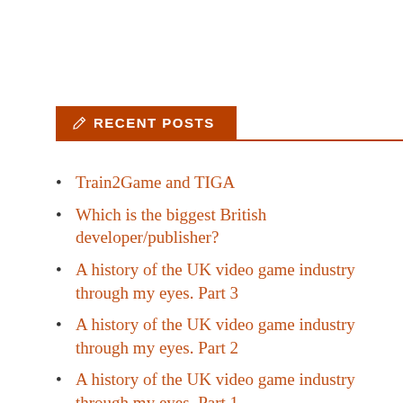RECENT POSTS
Train2Game and TIGA
Which is the biggest British developer/publisher?
A history of the UK video game industry through my eyes. Part 3
A history of the UK video game industry through my eyes. Part 2
A history of the UK video game industry through my eyes. Part 1.
What successful iPhone games have in common